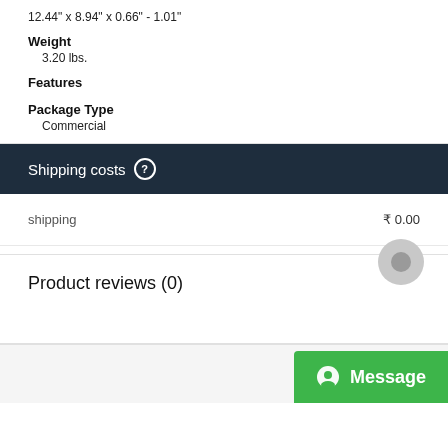12.44" x 8.94" x 0.66" - 1.01"
Weight
3.20 lbs.
Features
Package Type
Commercial
Shipping costs
|  |  |
| --- | --- |
| shipping | ₹ 0.00 |
Product reviews (0)